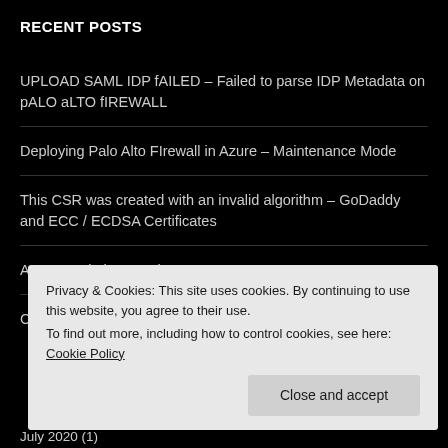RECENT POSTS
UPLOAD SAML IDP fAILED – Failed to parse IDP Metadata on pALO aLTO fIREWALL
Deploying Palo Alto FIrewall in Azure – Maintenance Mode
This CSR was created with an invalid algorithm – GoDaddy and ECC / ECDSA Certificates
A New Tesla in My Driveway
Citrix NetScaler and Blank AGESSO.JSP Page
Privacy & Cookies: This site uses cookies. By continuing to use this website, you agree to their use.
To find out more, including how to control cookies, see here: Cookie Policy
Close and accept
July 2020 (1)